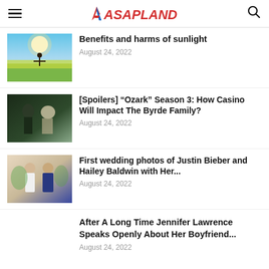ASAPLAND
Benefits and harms of sunlight
August 24, 2022
[Spoilers] “Ozark” Season 3: How Casino Will Impact The Byrde Family?
August 24, 2022
First wedding photos of Justin Bieber and Hailey Baldwin with Her...
August 24, 2022
After A Long Time Jennifer Lawrence Speaks Openly About Her Boyfriend...
August 24, 2022